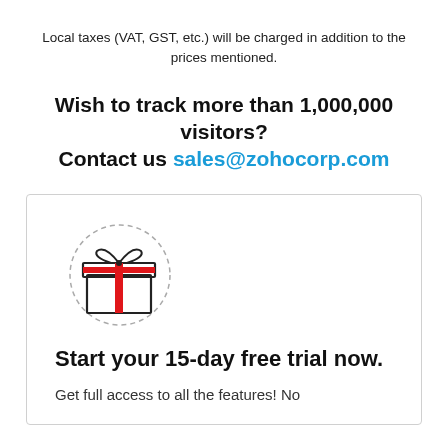Local taxes (VAT, GST, etc.) will be charged in addition to the prices mentioned.
Wish to track more than 1,000,000 visitors? Contact us sales@zohocorp.com
[Figure (illustration): Gift box icon with red ribbon and dashed circle border]
Start your 15-day free trial now.
Get full access to all the features! No